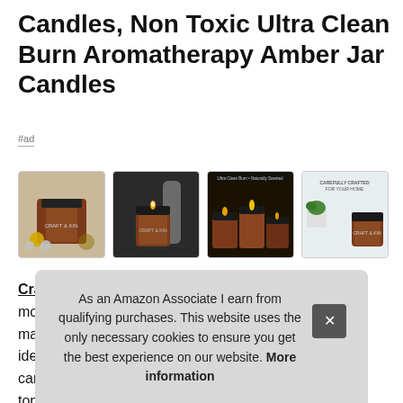Candles, Non Toxic Ultra Clean Burn Aromatherapy Amber Jar Candles
#ad
[Figure (photo): Four product images of amber jar candles arranged in a row: first showing a candle with gold Christmas ornaments, second showing a single lit candle by a vase, third showing three lit candles on a dark background with text 'Ultra Clean Burn • Naturally Scented • Perfect for Gifting', fourth showing a candle with succulents and text 'Carefully Crafted for Your Home']
Craft & Kin #ad - Our mission is to help you craft a little more of that love with your kin. The simplistic design makes it an idea… can… top… fres…
As an Amazon Associate I earn from qualifying purchases. This website uses the only necessary cookies to ensure you get the best experience on our website. More information